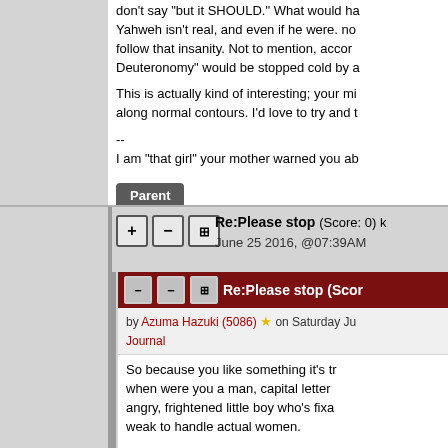don't say 'but it SHOULD.' What would ha Yahweh isn't real, and even if he were. no follow that insanity. Not to mention, accor Deuteronomy" would be stopped cold by a
This is actually kind of interesting; your mi along normal contours. I'd love to try and t
--
I am "that girl" your mother warned you ab
Parent
Re:Please stop (Score: 0) k June 25 2016, @07:39AM
Re:Please stop (Scor
by Azuma Hazuki (5086) ★ on Saturday Ju Journal
So because you like something it's tr when were you a man, capital letter angry, frightened little boy who's fixa weak to handle actual women.

--
I am "that girl" your mother warned y
Parent